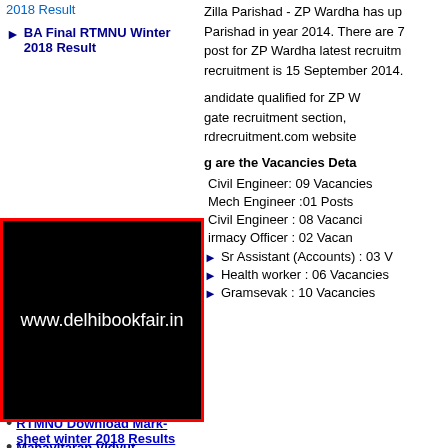2018 Result
BA Final RTMNU Winter 2018 Result
Zilla Parishad - ZP Wardha has uploaded Parishad in year 2014. There are 7 post for ZP Wardha latest recruitment is 15 September 2014.
[Figure (other): Black watermark overlay box with text www.delhibookfair.in and red border]
andidate qualified for ZP Wardha gate recruitment section, rdrecruitment.com website
g are the Vacancies Deta
Civil Engineer: 09 Vacancies
Mech Engineer :01 Posts
Civil Engineer : 08 Vacancies
Pharmacy Officer : 02 Vacancies
Sr Assistant (Accounts) : 03 Vacancies
Health worker : 06 Vacancies
Gramsevak : 10 Vacancies
RTMNU Download Mark-sheet winter 2018 Results
Mahavitaran Vidyut